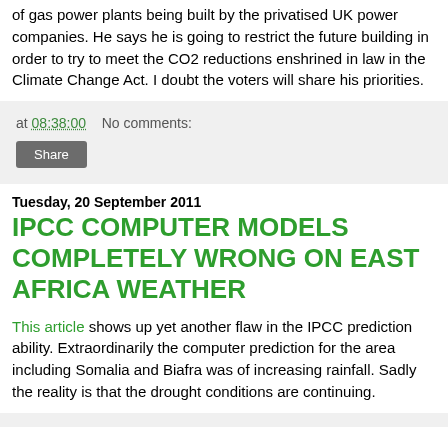of gas power plants being built by the privatised UK power companies. He says he is going to restrict the future building in order to try to meet the CO2 reductions enshrined in law in the Climate Change Act. I doubt the voters will share his priorities.
at 08:38:00   No comments:
Share
Tuesday, 20 September 2011
IPCC COMPUTER MODELS COMPLETELY WRONG ON EAST AFRICA WEATHER
This article shows up yet another flaw in the IPCC prediction ability. Extraordinarily the computer prediction for the area including Somalia and Biafra was of increasing rainfall. Sadly the reality is that the drought conditions are continuing.